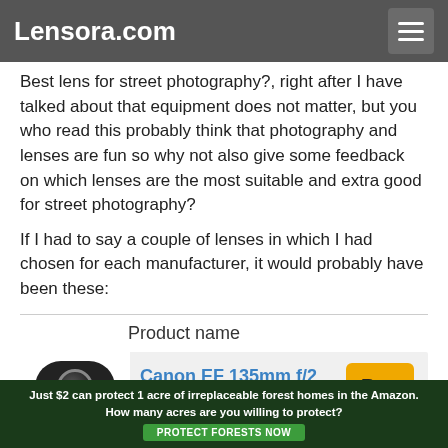Lensora.com
Best lens for street photography?, right after I have talked about that equipment does not matter, but you who read this probably think that photography and lenses are fun so why not also give some feedback on which lenses are the most suitable and extra good for street photography?
If I had to say a couple of lenses in which I had chosen for each manufacturer, it would probably have been these:
|  | Product name |  |
| --- | --- | --- |
| [lens image] | Canon EF 135mm f/2 L USM | Buy |
| [lens image] | Canon EF 16-35mm f/2,8 L USM | Buy |
[Figure (other): Advertisement banner: Just $2 can protect 1 acre of irreplaceable forest homes in the Amazon. How many acres are you willing to protect? PROTECT FORESTS NOW]